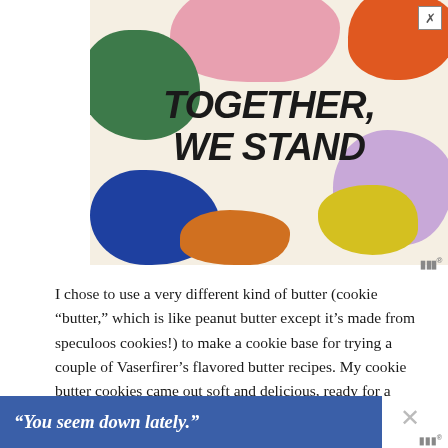[Figure (illustration): Advertisement banner with colorful blob shapes (pink, orange, green, blue, purple, yellow, orange) on a cream background with bold text 'TOGETHER, WE STAND']
I chose to use a very different kind of butter (cookie “butter,” which is like peanut butter except it’s made from speculoos cookies!) to make a cookie base for trying a couple of Vaserfirer’s flavored butter recipes. My cookie butter cookies came out soft and delicious, ready for a
[Figure (illustration): Bottom advertisement banner with blue background and white italic text: “You seem down lately.” with a close X button]